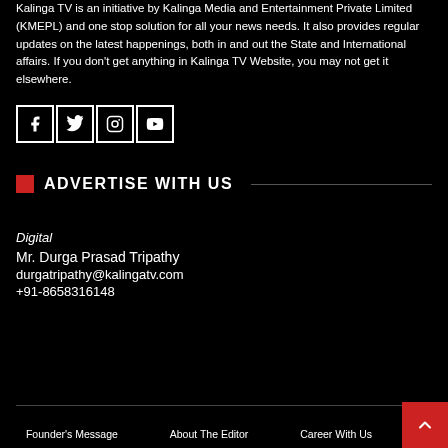Kalinga TV is an initiative by Kalinga Media and Entertainment Private Limited (KMEPL) and one stop solution for all your news needs. It also provides regular updates on the latest happenings, both in and out the State and International affairs. If you don't get anything in Kalinga TV Website, you may not get it elsewhere.
[Figure (other): Social media icons: Facebook, Twitter, Instagram, YouTube]
ADVERTISE WITH US
Digital
Mr. Durga Prasad Tripathy
durgatripathy@kalingatv.com
+91-8658316148
Founder's Message   About The Editor   Career With Us